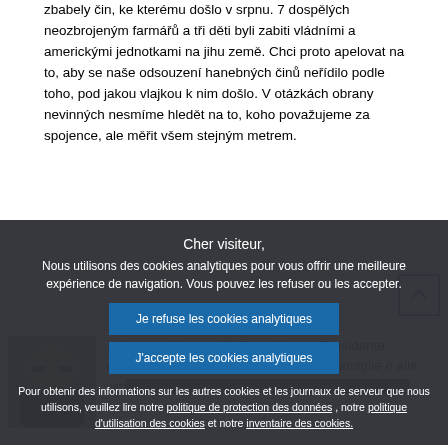zbabely čin, ke kterému došlo v srpnu. 7 dospělých neozbrojenych farmářů a tři děti byli zabiti vládními a americkými jednotkami na jihu země. Chci proto apelovat na to, aby se naše odsouzení hanebných činů neřídilo podle toho, pod jakou vlajkou k nim došlo. V otázkách obrany nevinných nesmíme hledět na to, koho považujeme za spojence, ale měřit všem stejným metrem.
[Figure (photo): Portrait photo of a man wearing glasses and a dark turtleneck]
Angelo Ciocca (ENF). – Signora Presidente, onorevoli colleghi, un pensiero va alle famiglie e alle vittime...
Cher visiteur,
Nous utilisons des cookies analytiques pour vous offrir une meilleure expérience de navigation. Vous pouvez les refuser ou les accepter.
Je refuse les cookies analytiques
J'accepte les cookies analytiques
Pour obtenir des informations sur les autres cookies et les journaux de serveur que nous utilisons, veuillez lire notre politique de protection des données , notre politique d'utilisation des cookies et notre inventaire des cookies.